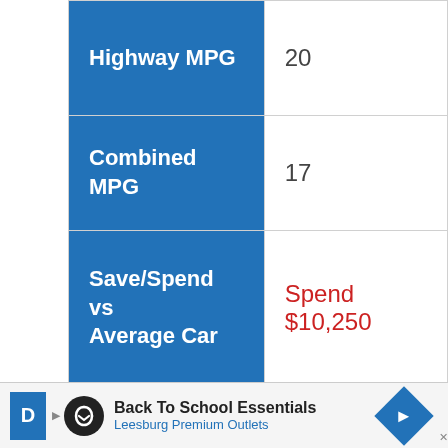|  |  |
| --- | --- |
| Highway MPG | 20 |
| Combined MPG | 17 |
| Save/Spend vs Average Car | Spend $10,250 |
| Fuel Cost | $4,350 |
| Fuel Type 1 | Premium |
| Barrels of Petroleum | 18 |
[Figure (infographic): Advertisement bar at bottom: Back To School Essentials - Leesburg Premium Outlets]